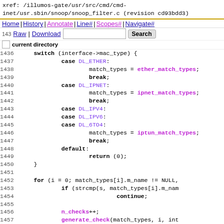xref: /illumos-gate/usr/src/cmd/cmd-inet/usr.sbin/snoop/snoop_filter.c (revision cd93bdd3)
Home | History | Annotate | Line# | Scopes# | Navigate#
Raw | Download  [Search button]
current directory
Code lines 1436-1459 of snoop_filter.c